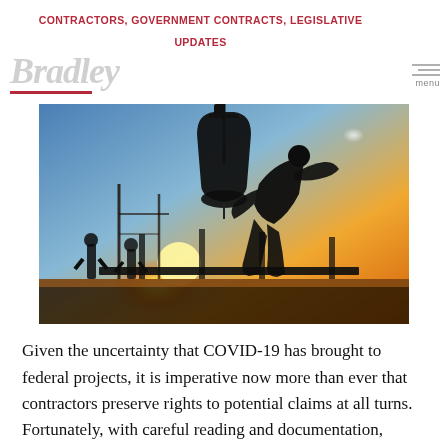CONTRACTORS, GOVERNMENT CONTRACTS, LEGISLATIVE UPDATES
[Figure (photo): Silhouette of construction workers at sunset, with a large crane bucket being guided by a worker, against a golden-orange and blue sky background.]
Given the uncertainty that COVID-19 has brought to federal projects, it is imperative now more than ever that contractors preserve rights to potential claims at all turns. Fortunately, with careful reading and documentation, contractors can satisfy the government's desire for change, while